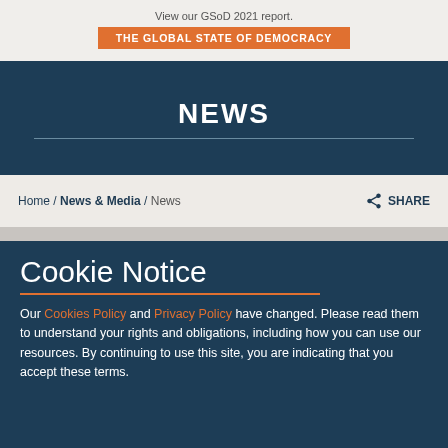View our GSoD 2021 report.
THE GLOBAL STATE OF DEMOCRACY
NEWS
Home / News & Media / News
SHARE
Cookie Notice
Our Cookies Policy and Privacy Policy have changed. Please read them to understand your rights and obligations, including how you can use our resources. By continuing to use this site, you are indicating that you accept these terms.